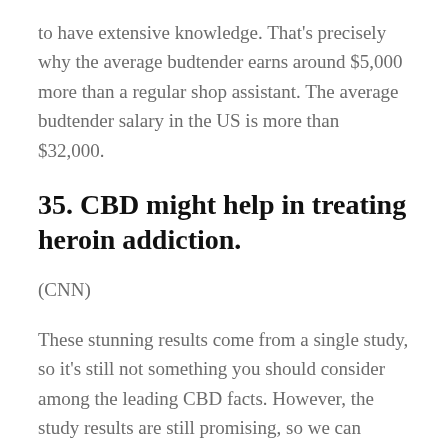to have extensive knowledge. That's precisely why the average budtender earns around $5,000 more than a regular shop assistant. The average budtender salary in the US is more than $32,000.
35. CBD might help in treating heroin addiction.
(CNN)
These stunning results come from a single study, so it's still not something you should consider among the leading CBD facts. However, the study results are still promising, so we can expect to hear more in the future once more studies are conducted.